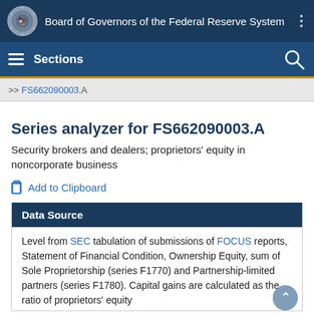Board of Governors of the Federal Reserve System
Sections
>> FS662090003.A
Series analyzer for FS662090003.A
Security brokers and dealers; proprietors' equity in noncorporate business
Add to Clipboard
Data Source
Level from SEC tabulation of submissions of FOCUS reports, Statement of Financial Condition, Ownership Equity, sum of Sole Proprietorship (series F1770) and Partnership-limited partners (series F1780). Capital gains are calculated as the ratio of proprietors' equity